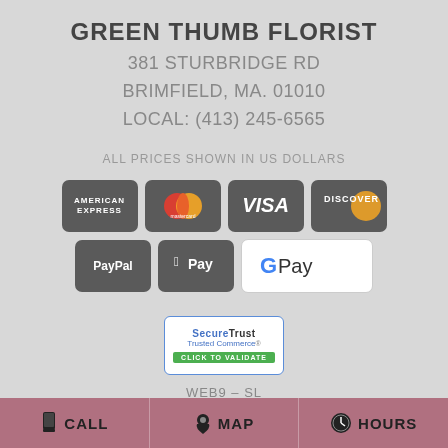GREEN THUMB FLORIST
381 STURBRIDGE RD
BRIMFIELD, MA. 01010
LOCAL: (413) 245-6565
ALL PRICES SHOWN IN US DOLLARS
[Figure (infographic): Payment method icons: American Express, Mastercard, Visa, Discover, PayPal, Apple Pay, Google Pay]
[Figure (infographic): SecureTrust Trusted Commerce badge with CLICK TO VALIDATE]
WEB9-SL
CALL   MAP   HOURS